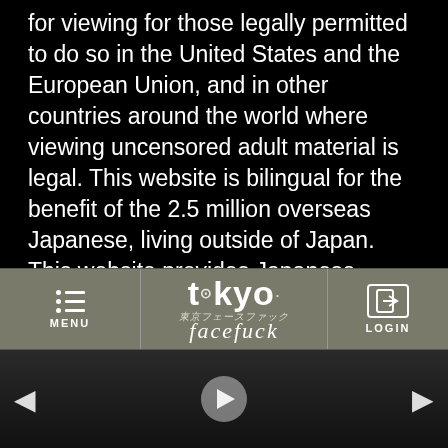for viewing for those legally permitted to do so in the United States and the European Union, and in other countries around the world where viewing uncensored adult material is legal. This website is bilingual for the benefit of the 2.5 million overseas Japanese, living outside of Japan. This website provides Japanese translations for Japanese speaking Europeans, Americans, or other overseas-based Japanese only.
[Figure (screenshot): Website navigation bar for 'tokyo facefuck' with menu icon on left, logo in center, and login button on right, on a dark olive/grey background]
[Figure (photo): Dark video thumbnail showing two people, with a circular play button in the center and left/right navigation arrows]